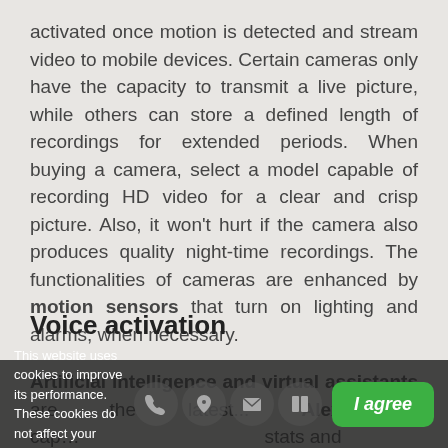activated once motion is detected and stream video to mobile devices. Certain cameras only have the capacity to transmit a live picture, while others can store a defined length of recordings for extended periods. When buying a camera, select a model capable of recording HD video for a clear and crisp picture. Also, it won't hurt if the camera also produces quality night-time recordings. The functionalities of cameras are enhanced by motion sensors that turn on lighting and alarms, when necessary.
Voice activation
Artificial intelligence and virtual assistants are the latest... Alexa is cap... stats and